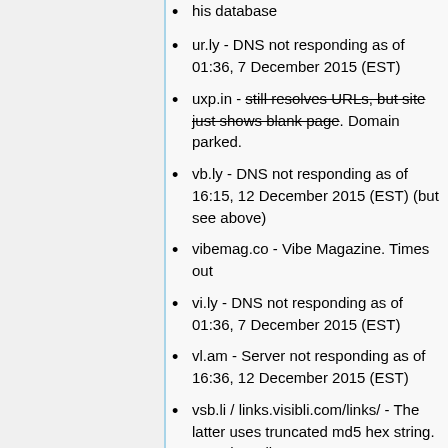his database
ur.ly - DNS not responding as of 01:36, 7 December 2015 (EST)
uxp.in - still resolves URLs, but site just shows blank page. Domain parked.
vb.ly - DNS not responding as of 16:15, 12 December 2015 (EST) (but see above)
vibemag.co - Vibe Magazine. Times out
vi.ly - DNS not responding as of 01:36, 7 December 2015 (EST)
vl.am - Server not responding as of 16:36, 12 December 2015 (EST)
vsb.li / links.visibli.com/links/ - The latter uses truncated md5 hex string. See sharedby.co.
w3t.org - 403 Forbidden.
wini.es - DNS not responding as of